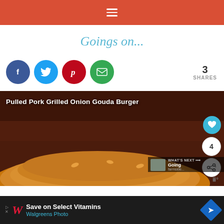Navigation menu header bar
Goings on...
[Figure (infographic): Social share buttons: Facebook (blue oval), Twitter (light blue oval), Pinterest (red oval), Email (green oval), with share count '3 SHARES' on the right]
[Figure (photo): Pulled Pork Grilled Onion Gouda Burger food photo with dark brown background, burger bun visible. Overlaid title text: 'Pulled Pork Grilled Onion Gouda Burger'. Action buttons on right: heart/like (teal), count 4 (white circle), share (white circle). 'WHAT'S NEXT' bar at bottom right with 'Going' text.]
Save on Select Vitamins Walgreens Photo [advertisement]